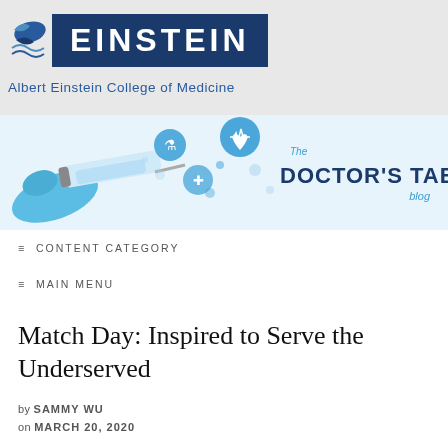[Figure (logo): Albert Einstein College of Medicine logo with blue EINSTEIN text and stylized bird icon]
[Figure (illustration): The Doctor's Tablet blog banner with medical icons, syringe illustration, and blog name]
≡ CONTENT CATEGORY
≡ MAIN MENU
Match Day: Inspired to Serve the Underserved
by SAMMY WU
on MARCH 20, 2020